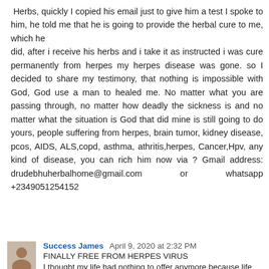Herbs, quickly I copied his email just to give him a test I spoke to him, he told me that he is going to provide the herbal cure to me, which he did, after i receive his herbs and i take it as instructed i was cure permanently from herpes my herpes disease was gone. so I decided to share my testimony, that nothing is impossible with God, God use a man to healed me. No matter what you are passing through, no matter how deadly the sickness is and no matter what the situation is God that did mine is still going to do yours, people suffering from herpes, brain tumor, kidney disease, pcos, AIDS, ALS,copd, asthma, athritis,herpes, Cancer,Hpv, any kind of disease, you can rich him now via ? Gmail address: drudebhuherbalhome@gmail.com or whatsapp +2349051254152
Reply
Success James April 9, 2020 at 2:32 PM
FINALLY FREE FROM HERPES VIRUS
I thought my life had nothing to offer anymore because life became so meaningless to me because I had Herpes virus,